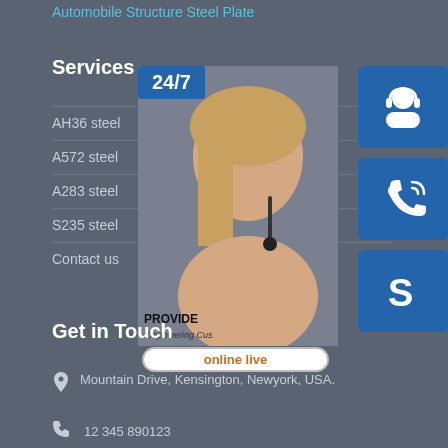Automobile Structure Steel Plate
Services
AH36 steel
A572 steel
A283 steel
S235 steel
Contact us
[Figure (illustration): Customer service widget panel with a photo of a woman wearing a headset, a 24/7 label, three blue icon buttons (headset, phone, Skype), a PROVIDE/Empowering Customers text, and an 'online live' button.]
Get in Touch
Mountain Drive, Kensington, Newyork, USA.
12 345 890123